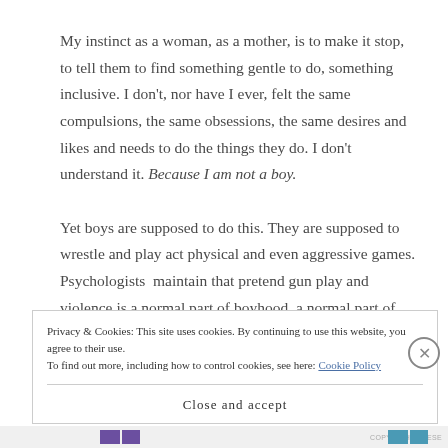My instinct as a woman, as a mother, is to make it stop, to tell them to find something gentle to do, something inclusive. I don't, nor have I ever, felt the same compulsions, the same obsessions, the same desires and likes and needs to do the things they do. I don't understand it. Because I am not a boy.

Yet boys are supposed to do this. They are supposed to wrestle and play act physical and even aggressive games. Psychologists maintain that pretend gun play and violence is a normal part of boyhood, a normal part of the
Privacy & Cookies: This site uses cookies. By continuing to use this website, you agree to their use.
To find out more, including how to control cookies, see here: Cookie Policy
Close and accept